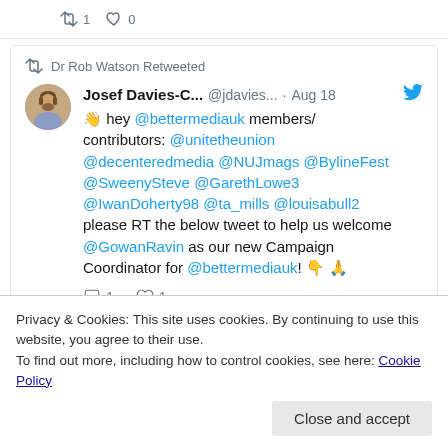[Figure (screenshot): Top strip of a tweet card showing reply and like icons with counts partially visible at the top of the page]
Dr Rob Watson Retweeted
Josef Davies-C... @jdavies... · Aug 18
👋 hey @bettermediauk members/contributors: @unitetheunion @decenteredmedia @NUJmags @BylineFest @SweenySteve @GarethLowe3 @IwanDoherty98 @ta_mills @louisabull2 please RT the below tweet to help us welcome @GowanRavin as our new Campaign Coordinator for @bettermediauk! 👇 🙏
💬 1   ♡ 1
Privacy & Cookies: This site uses cookies. By continuing to use this website, you agree to their use.
To find out more, including how to control cookies, see here: Cookie Policy
Close and accept
we maintain universal media services, or will th...